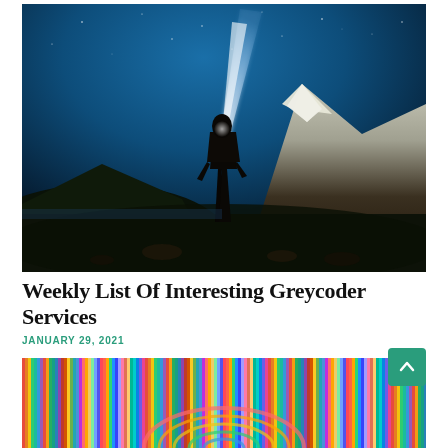[Figure (photo): Night photography: silhouette of a person standing on rocky ground, facing away toward a snow-capped mountain. A bright beam of light shoots upward from the person's head into a dark blue starry sky. The mountain is illuminated on the right side.]
Weekly List Of Interesting Greycoder Services
JANUARY 29, 2021
[Figure (photo): Colorful vertical stripes image — multicolored thin vertical lines in various bright colors (rainbow spectrum) forming a decorative pattern, partially visible at the bottom of the page.]